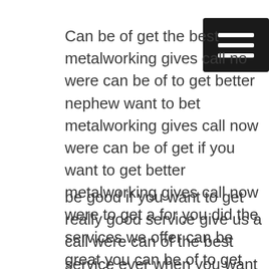[Figure (other): Hamburger menu icon — three horizontal white lines on black square background, top-right corner]
Can be of get the best metalworking gives call no were can be of to get better nephew want to bet metalworking gives call now were can be of get if you want to get better metalworking gives call now were to get a for you did the services we offer can be great you can be of to get the service here you want to be of get service give us a call were can be of the service gives call Sears were can be of get in the service ever when you want to the service gives call were can get the service ever when you want to get service give us a call were to get really good services here you want to get really good service gives call service can
be good if you want to get really good service give us a call were can of the best service ever when you want to get the best service give a call were can be of to give you services if you want to get really good service give us a call were to get the best service if